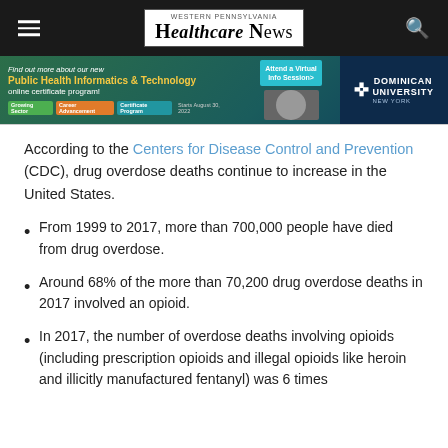Western Pennsylvania HealthCare News
[Figure (other): Advertisement banner for Dominican University New York Public Health Informatics & Technology online certificate program with virtual info session button]
According to the Centers for Disease Control and Prevention (CDC), drug overdose deaths continue to increase in the United States.
From 1999 to 2017, more than 700,000 people have died from drug overdose.
Around 68% of the more than 70,200 drug overdose deaths in 2017 involved an opioid.
In 2017, the number of overdose deaths involving opioids (including prescription opioids and illegal opioids like heroin and illicitly manufactured fentanyl) was 6 times